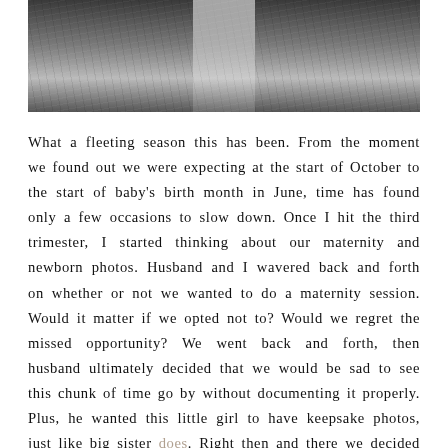[Figure (photo): Black and white outdoor photo, dark field/grass background with a lighter subject in the center, partially cropped at top]
What a fleeting season this has been. From the moment we found out we were expecting at the start of October to the start of baby's birth month in June, time has found only a few occasions to slow down. Once I hit the third trimester, I started thinking about our maternity and newborn photos. Husband and I wavered back and forth on whether or not we wanted to do a maternity session. Would it matter if we opted not to? Would we regret the missed opportunity? We went back and forth, then husband ultimately decided that we would be sad to see this chunk of time go by without documenting it properly. Plus, he wanted this little girl to have keepsake photos, just like big sister does. Right then and there we decided a session to document the end of this pregnancy was worth it. So we